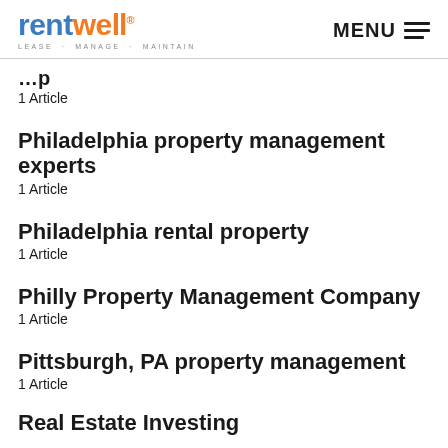rentwell LEASE . MANAGE . MAINTAIN | MENU
1 Article
Philadelphia property management experts
1 Article
Philadelphia rental property
1 Article
Philly Property Management Company
1 Article
Pittsburgh, PA property management
1 Article
Real Estate Investing